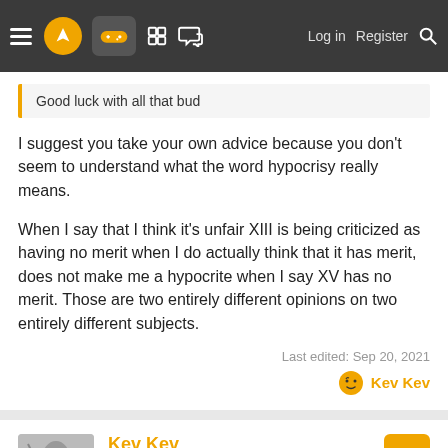Navigation bar with menu, logo, game icon, grid, chat, Log in, Register, Search
Good luck with all that bud
I suggest you take your own advice because you don't seem to understand what the word hypocrisy really means.

When I say that I think it's unfair XIII is being criticized as having no merit when I do actually think that it has merit, does not make me a hypocrite when I say XV has no merit. Those are two entirely different opinions on two entirely different subjects.
Last edited: Sep 20, 2021
Kev Kev
Kev Kev
Gold Member
Sep 20, 2021  #206